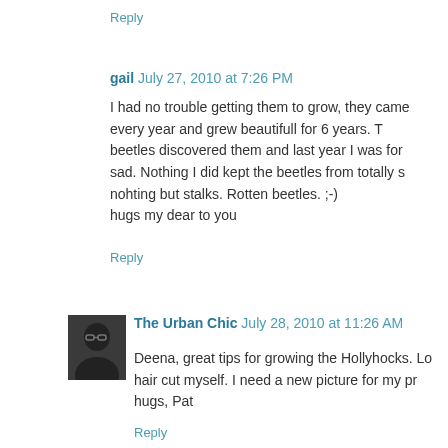Reply
gail  July 27, 2010 at 7:26 PM
I had no trouble getting them to grow, they came every year and grew beautifull for 6 years. T beetles discovered them and last year I was for sad. Nothing I did kept the beetles from totally s nohting but stalks. Rotten beetles. ;-)
hugs my dear to you
Reply
The Urban Chic  July 28, 2010 at 11:26 AM
Deena, great tips for growing the Hollyhocks. Lo hair cut myself. I need a new picture for my pr hugs, Pat
Reply